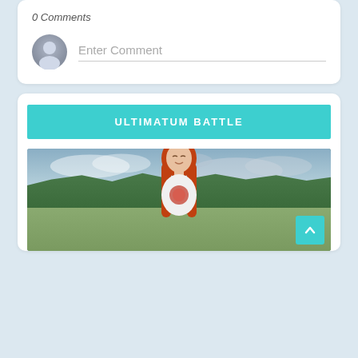0 Comments
Enter Comment
ULTIMATUM BATTLE
[Figure (photo): Young woman with long red hair wearing a white graphic t-shirt, smiling with eyes closed, outdoors with trees and cloudy sky in background]